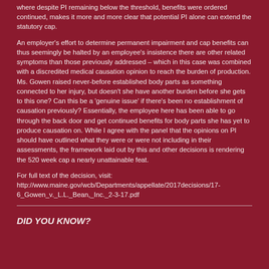where despite PI remaining below the threshold, benefits were ordered continued, makes it more and more clear that potential PI alone can extend the statutory cap.
An employer's effort to determine permanent impairment and cap benefits can thus seemingly be halted by an employee's insistence there are other related symptoms than those previously addressed – which in this case was combined with a discredited medical causation opinion to reach the burden of production. Ms. Gowen raised never-before established body parts as something connected to her injury, but doesn't she have another burden before she gets to this one? Can this be a 'genuine issue' if there's been no establishment of causation previously? Essentially, the employee here has been able to go through the back door and get continued benefits for body parts she has yet to produce causation on. While I agree with the panel that the opinions on PI should have outlined what they were or were not including in their assessments, the framework laid out by this and other decisions is rendering the 520 week cap a nearly unattainable feat.
For full text of the decision, visit: http://www.maine.gov/wcb/Departments/appellate/2017decisions/17-6_Gowen_v._L.L._Bean,_Inc._2-3-17.pdf
DID YOU KNOW?